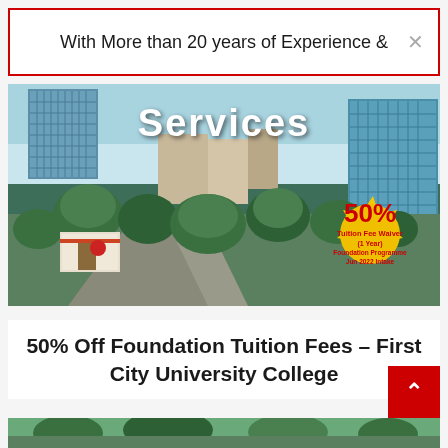With More than 20 years of Experience &
[Figure (photo): Aerial/elevated photo of a university campus with blue buildings, green trees, and roads. A yellow starburst badge reads '50% Tuition Fee Waiver (1 Year) Foundation Programmes Jun 2022 Intake'. White bold text 'Services' overlaid at top center.]
50% Off Foundation Tuition Fees – First City University College